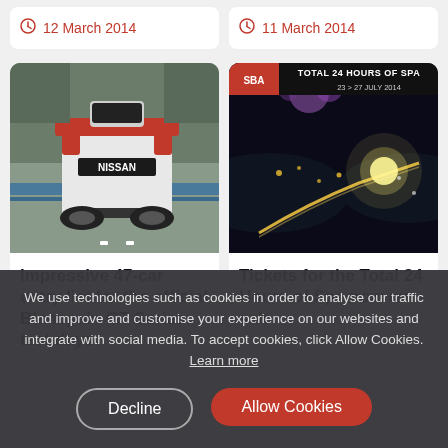12 March 2014
11 March 2014
[Figure (photo): Rear view of a white Nissan GT-R race car on a racing circuit track]
Impressive 47-car entry list for the official Blancpain GT Series test days
[Figure (photo): Aerial night view of Spa-Francorchamps circuit with lights, banner reading TOTAL 24 HOURS OF SPA, 23 > 27 JULY 2014]
Tickets for the Total 24 Hours of Spa now on sale
We use technologies such as cookies in order to analyse our traffic and improve and customise your experience on our websites and integrate with social media. To accept cookies, click Allow Cookies. Learn more
Decline
Allow Cookies